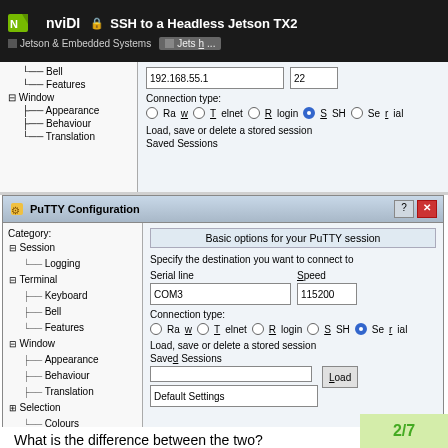[Figure (screenshot): NVIDIA browser bar showing 'SSH to a Headless Jetson TX2' with Jetson & Embedded Systems tabs]
[Figure (screenshot): Partial PuTTY Configuration window (top) showing SSH settings with IP 192.168.55.1, port 22, connection type SSH selected]
[Figure (screenshot): Full PuTTY Configuration window showing Serial connection settings: COM3, speed 115200, connection type Serial selected, with category tree showing Session, Terminal, Window sections]
What is the difference between the two?
[Figure (screenshot): Partial green page indicator showing '2/7' or similar pagination]